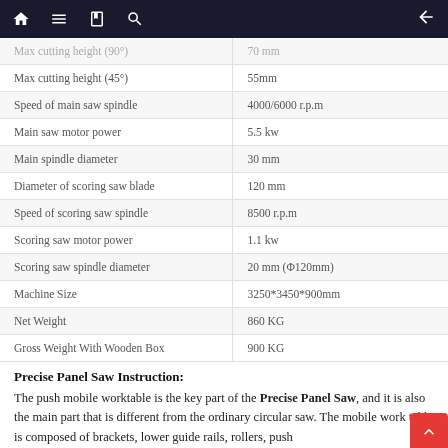Navigation bar with home, menu, book, search icons and back arrow
| Specification | Value |
| --- | --- |
| Max cutting height (90°) | 70 mm |
| Max cutting height (45°) | 55mm |
| Speed of main saw spindle | 4000/6000 r.p.m |
| Main saw motor power | 5.5 kw |
| Main spindle diameter | 30 mm |
| Diameter of scoring saw blade | 120 mm |
| Speed of scoring saw spindle | 8500 r.p.m |
| Scoring saw motor power | 1.1 kw |
| Scoring saw spindle diameter | 20 mm (Φ120mm) |
| Machine Size | 3250*3450*900mm |
| Net Weight | 860 KG |
| Gross Weight With Wooden Box | 900 KG |
Precise Panel Saw Instruction:
The push mobile worktable is the key part of the Precise Panel Saw, and it is also the main part that is different from the ordinary circular saw. The mobile work table is composed of brackets, lower guide rails, rollers, push